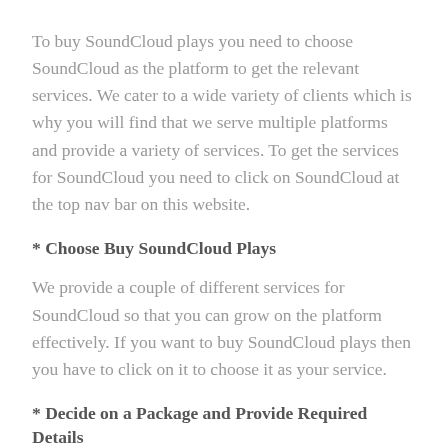To buy SoundCloud plays you need to choose SoundCloud as the platform to get the relevant services. We cater to a wide variety of clients which is why you will find that we serve multiple platforms and provide a variety of services. To get the services for SoundCloud you need to click on SoundCloud at the top nav bar on this website.
* Choose Buy SoundCloud Plays
We provide a couple of different services for SoundCloud so that you can grow on the platform effectively. If you want to buy SoundCloud plays then you have to click on it to choose it as your service.
* Decide on a Package and Provide Required Details
To ensure that all budgetary constraints are covered